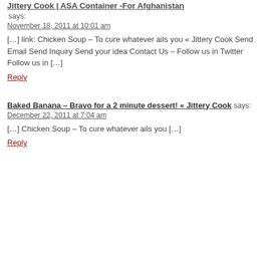Jittery Cook | ASA Container -For Afghanistan
says:
November 18, 2011 at 10:01 am
[…] link: Chicken Soup – To cure whatever ails you « Jittery Cook Send Email Send Inquiry Send your idea Contact Us – Follow us in Twitter Follow us in […]
Reply
Baked Banana – Bravo for a 2 minute dessert! « Jittery Cook
says:
December 22, 2011 at 7:04 am
[…] Chicken Soup – To cure whatever ails you […]
Reply